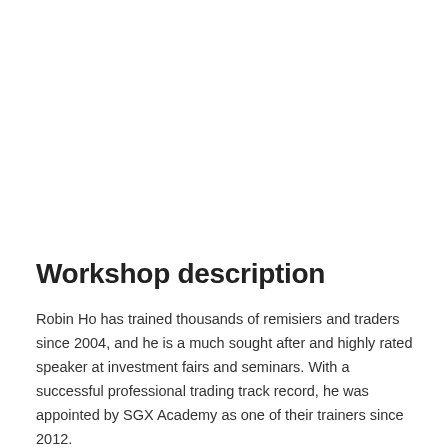Workshop description
Robin Ho has trained thousands of remisiers and traders since 2004, and he is a much sought after and highly rated speaker at investment fairs and seminars. With a successful professional trading track record, he was appointed by SGX Academy as one of their trainers since 2012.